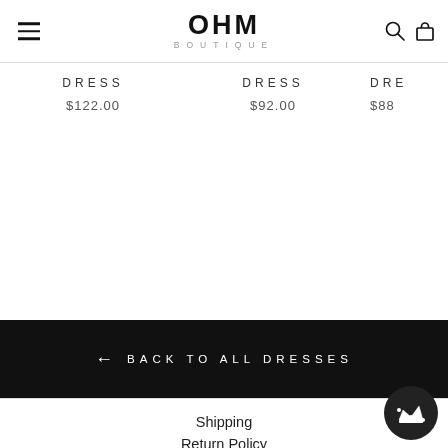OHM BOUTIQUE — navigation header with menu, logo, search, and bag icons
DRESS $122.00
DRESS $92.00
DRE $88
← BACK TO ALL DRESSES
Shipping
Return Policy